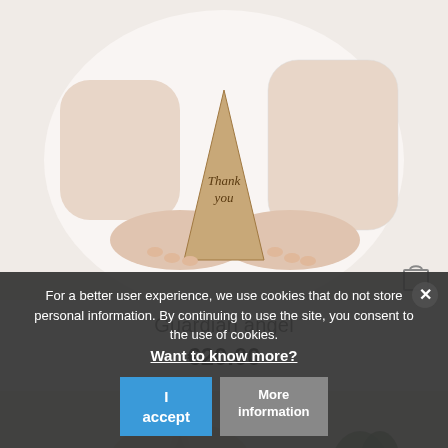[Figure (photo): Woman in white lace dress holding a wooden triangular 'Thank you' engraved plaque, with a shopping bag icon in the corner]
Guardian angel
€20.00
[Figure (photo): Second product image showing a light-colored wooden angel figure on a table with blurred background]
For a better user experience, we use cookies that do not store personal information. By continuing to use the site, you consent to the use of cookies. Want to know more?